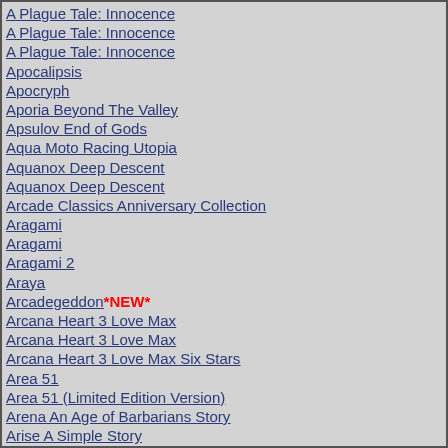A Plague Tale: Innocence
A Plague Tale: Innocence
A Plague Tale: Innocence
Apocalipsis
Apocryph
Aporia Beyond The Valley
Apsulov End of Gods
Aqua Moto Racing Utopia
Aquanox Deep Descent
Aquanox Deep Descent
Arcade Classics Anniversary Collection
Aragami
Aragami
Aragami 2
Araya
Arcadegeddon *NEW*
Arcana Heart 3 Love Max
Arcana Heart 3 Love Max
Arcana Heart 3 Love Max Six Stars
Area 51
Area 51 (Limited Edition Version)
Arena An Age of Barbarians Story
Arise A Simple Story
Arizona Derby
Ark Survival Evolved
Ark: Survival Evolved
Ark: Survival Evolved - Valguero
ArmA 2: Operation Arrowhead